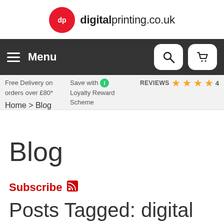[Figure (logo): digitalprinting.co.uk logo with red circle containing dp letters]
Menu | Search | Cart navigation bar
Free Delivery on orders over £80*
Save with Loyalty Reward Scheme
REVIEWS ★★★★ 4
Home > Blog
Blog
Subscribe
Posts Tagged: digital printing
Pack a punch with your